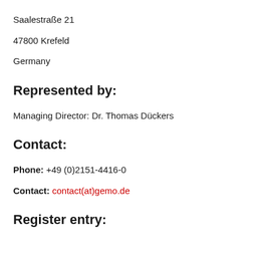Saalestraße 21
47800 Krefeld
Germany
Represented by:
Managing Director: Dr. Thomas Dückers
Contact:
Phone: +49 (0)2151-4416-0
Contact: contact(at)gemo.de
Register entry: